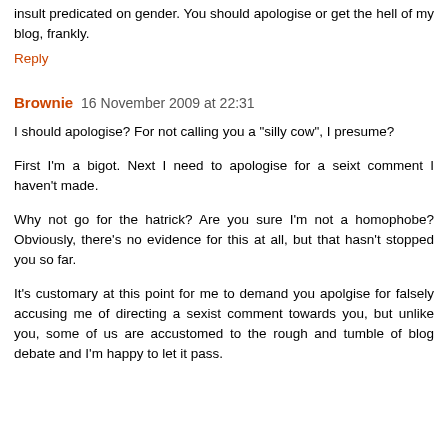insult predicated on gender. You should apologise or get the hell of my blog, frankly.
Reply
Brownie  16 November 2009 at 22:31
I should apologise? For not calling you a "silly cow", I presume?
First I'm a bigot. Next I need to apologise for a sext comment I haven't made.
Why not go for the hatrick? Are you sure I'm not a homophobe? Obviously, there's no evidence for this at all, but that hasn't stopped you so far.
It's customary at this point for me to demand you apolgise for falsely accusing me of directing a sexist comment towards you, but unlike you, some of us are accustomed to the rough and tumble of blog debate and I'm happy to let it pass.